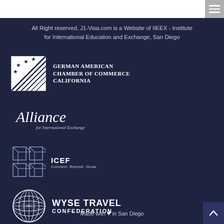[Figure (screenshot): Menu/hamburger icon in grey box at top right]
All Right reserved, J1-Visa.com is a Website of IIEEX - Institute for International Education and Exchange, San Diego
[Figure (logo): German American Chamber of Commerce California logo with stars and stripes]
[Figure (logo): Alliance for International Exchange cursive logo]
[Figure (logo): ICEF Connect. Recruit. Grow. logo with cube shapes]
[Figure (logo): WYSE TRAVEL CONFEDERATION logo with globe]
Made with ♥ in San Diego